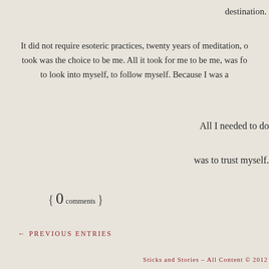destination.
It did not require esoteric practices, twenty years of meditation, o took was the choice to be me. All it took for me to be me, was fo to look into myself, to follow myself. Because I was a
All I needed to do
was to trust myself.
{ 0 comments }
← PREVIOUS ENTRIES
Sticks and Stories – All Content © 2012